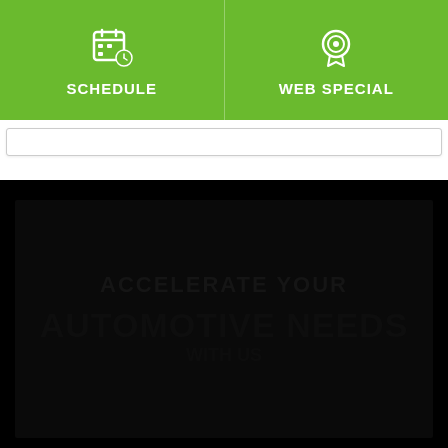[Figure (screenshot): Navigation bar with two green buttons: SCHEDULE (with calendar-clock icon) and WEB SPECIAL (with award/target icon), on a green background]
[Figure (screenshot): Dark/black section showing a very dark image or video content, nearly all black with faint text shapes visible]